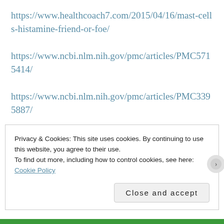https://www.healthcoach7.com/2015/04/16/mast-cells-histamine-friend-or-foe/
https://www.ncbi.nlm.nih.gov/pmc/articles/PMC5715414/
https://www.ncbi.nlm.nih.gov/pmc/articles/PMC3395887/
https://www.ncbi.nlm.nih.gov/pmc/articles/PMC5710302/
Our Cytochrome P450 enzymes protect us from carcinogens. Many things alter the function of our
Privacy & Cookies: This site uses cookies. By continuing to use this website, you agree to their use.
To find out more, including how to control cookies, see here: Cookie Policy